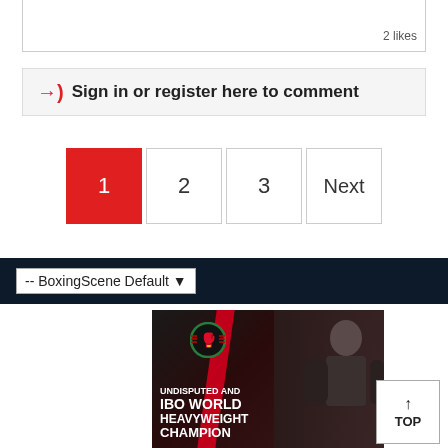2 likes
→) Sign in or register here to comment
1  2  3  Next
-- BoxingScene Default
[Figure (photo): BoxingScene advertisement featuring a boxer with text 'UNDISPUTED AND IBO WORLD HEAVYWEIGHT CHAMPION']
↑ TOP